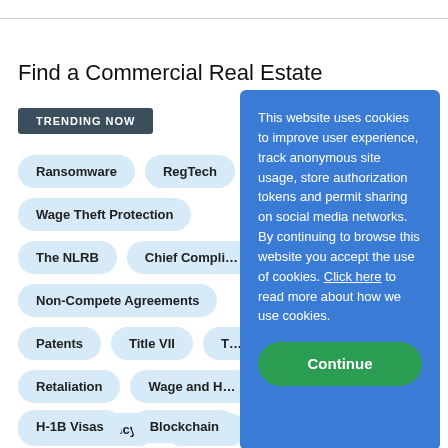Find a Commercial Real Estate
TRENDING NOW
Ransomware
RegTech
Wage Theft Protection
The NLRB
Chief Compli…
Non-Compete Agreements
Patents
Title VII
T…
Retaliation
Wage and H…
Virtual Currency
Statu…
H-1B Visas
Blockchain
Internet of Things
This website uses cookies to improve user experience, track anonymous site usage, store authorization tokens and permit sharing on social media networks. By continuing to browse this website you accept the use of cookies. Click here to read more about how we use cookies.
Continue